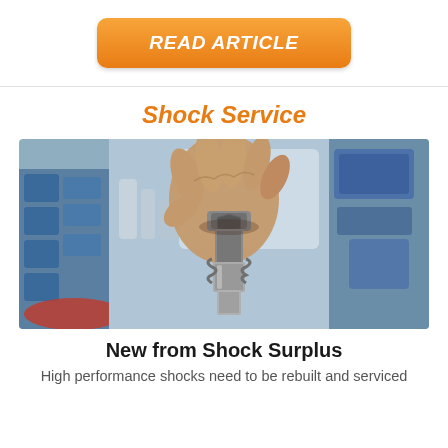READ ARTICLE
Shock Service
[Figure (photo): Close-up photo of a mechanic's hands rebuilding/servicing a shock absorber, with blue automotive parts visible in the background workshop setting.]
New from Shock Surplus
High performance shocks need to be rebuilt and serviced